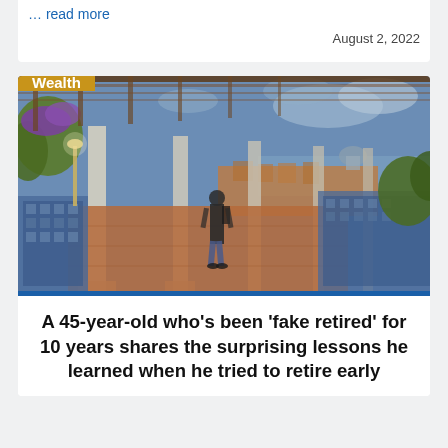… read more
August 2, 2022
[Figure (photo): Person walking along a scenic tiled colonnade/promenade with plants, decorative blue-tile benches and walls, a pergola overhead, and a city and coastline vista in the background at dusk. A 'Wealth' category badge overlays the top-left corner.]
A 45-year-old who's been 'fake retired' for 10 years shares the surprising lessons he learned when he tried to retire early